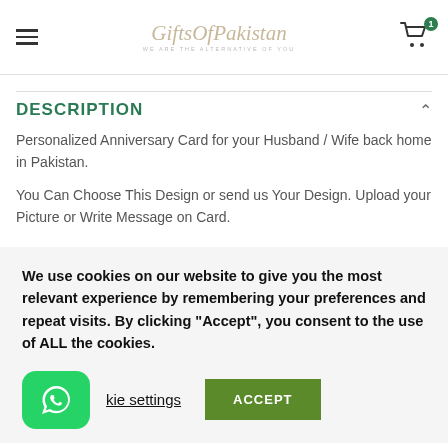GiftsOfPakistan — [logo and cart icon with badge 1]
DESCRIPTION
Personalized Anniversary Card for your Husband / Wife back home in Pakistan.
You Can Choose This Design or send us Your Design. Upload your Picture or Write Message on Card.
We use cookies on our website to give you the most relevant experience by remembering your preferences and repeat visits. By clicking "Accept", you consent to the use of ALL the cookies.
kie settings   ACCEPT